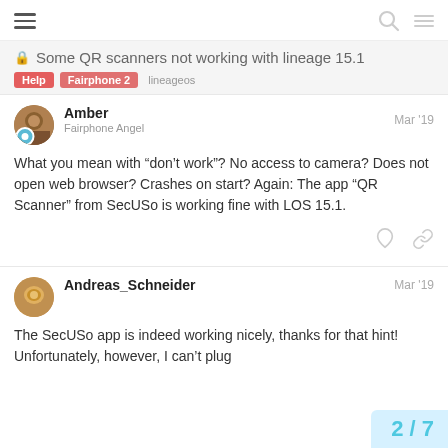Some QR scanners not working with lineage 15.1
Help  Fairphone 2  lineageos
Amber
Fairphone Angel
Mar '19
What you mean with “don’t work”? No access to camera? Does not open web browser? Crashes on start? Again: The app “QR Scanner” from SecUSo is working fine with LOS 15.1.
Andreas_Schneider
Mar '19
The SecUSo app is indeed working nicely, thanks for that hint! Unfortunately, however, I can’t plug